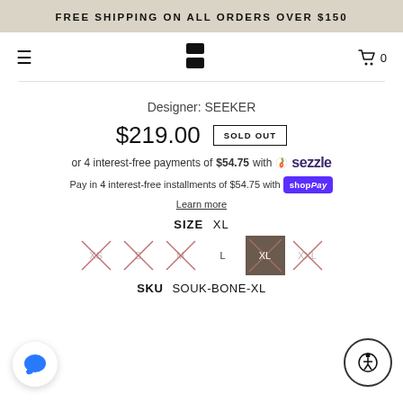FREE SHIPPING ON ALL ORDERS OVER $150
[Figure (logo): S-shaped brand logo in black, nav bar with hamburger menu and cart icon showing 0]
Designer: SEEKER
$219.00  SOLD OUT
or 4 interest-free payments of $54.75 with Sezzle
Pay in 4 interest-free installments of $54.75 with shop Pay
Learn more
SIZE  XL
XS  S  M  L  XL  XXL
SKU  SOUK-BONE-XL